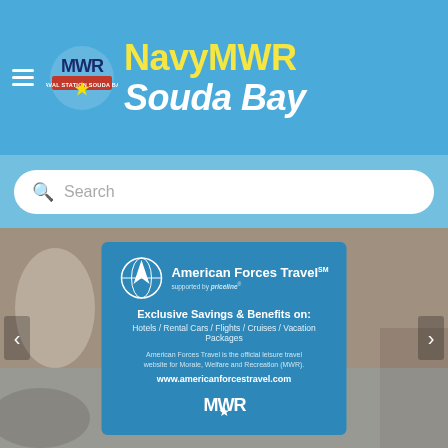[Figure (screenshot): NavyMWR Souda Bay website header with MWR logo, hamburger menu, NavyMWR and Souda Bay branding in yellow and white on blue background]
Search
[Figure (infographic): American Forces Travel promotional banner card on scenic background. Shows AFT logo (globe/rocket), text: 'American Forces Travel supported by priceline', 'Exclusive Savings & Benefits on:', 'Hotels / Rental Cars / Flights / Cruises / Vacation Packages', 'American Forces Travel is the official leisure travel website for Morale, Welfare and Recreation (MWR).', 'www.americanforcestravel.com', MWR logo at bottom. Left and right navigation arrows visible.]